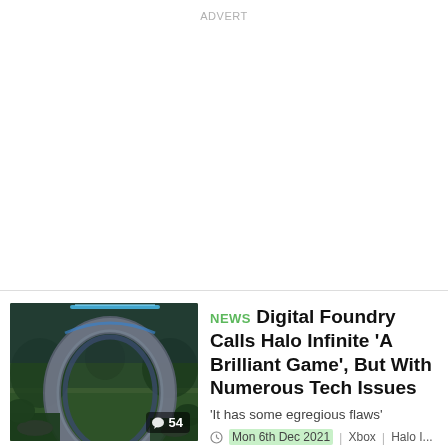ADVERT
[Figure (photo): Halo Infinite gameplay screenshot showing a large ring structure in a forested environment, with a comment count badge showing 54]
NEWS  Digital Foundry Calls Halo Infinite 'A Brilliant Game', But With Numerous Tech Issues
'It has some egregious flaws'
Mon 6th Dec 2021 | Xbox | Halo I...